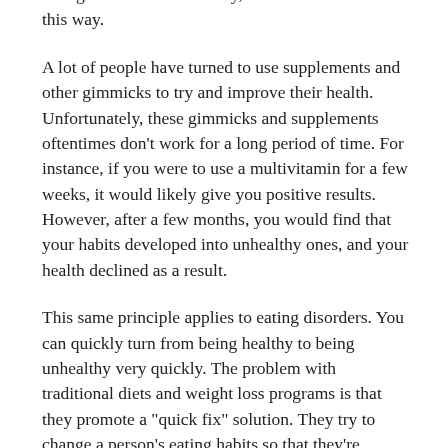eating disorders. Thankfully, it doesn't have to be this way.
A lot of people have turned to use supplements and other gimmicks to try and improve their health. Unfortunately, these gimmicks and supplements oftentimes don't work for a long period of time. For instance, if you were to use a multivitamin for a few weeks, it would likely give you positive results. However, after a few months, you would find that your habits developed into unhealthy ones, and your health declined as a result.
This same principle applies to eating disorders. You can quickly turn from being healthy to being unhealthy very quickly. The problem with traditional diets and weight loss programs is that they promote a "quick fix" solution. They try to change a person's eating habits so that they're physically healthy right away, but this often isn't the case. The reason behind this is that the body still needs time to adjust to new eating habits. People who try to lose weight too quickly will develop eating disorders.